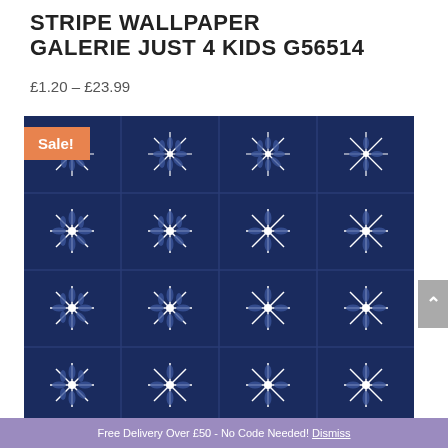STRIPE WALLPAPER GALERIE JUST 4 KIDS G56514
£1.20 – £23.99
[Figure (photo): Navy blue wallpaper with repeating white starburst/snowflake geometric tile pattern. A Sale! badge in orange is overlaid on the top-left corner of the image.]
Free Delivery Over £50 - No Code Needed! Dismiss